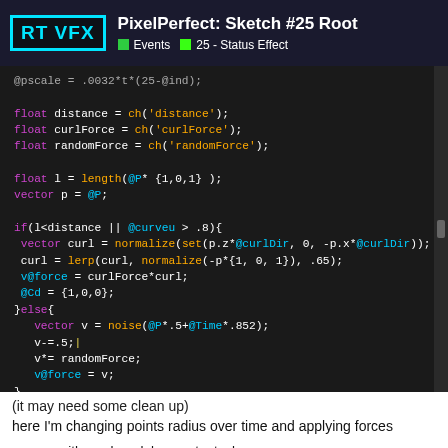RT VFX | PixelPerfect: Sketch #25 Root | Events | 25 - Status Effect
[Figure (screenshot): Code editor screenshot showing GLSL/VEX shader code on dark background. Code includes variable declarations for distance, curlForce, randomForce, conditional logic for curl-based force, noise-based random velocity, and chramp function call.]
(it may need some clean up)
here I'm changing points radius over time and applying forces
grow with random delay per tentacle
if a point is close enough to the victim (v-axis) or close to the tip of the tentacle - curl around th
otherwise, add random velocity